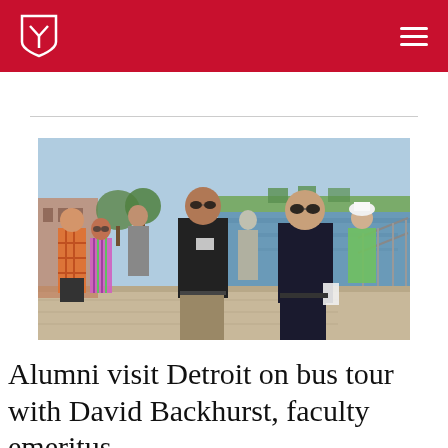Lawrence University logo and navigation
[Figure (photo): Group of alumni walking along a waterfront boardwalk on a sunny day, with a river or lake visible in the background. Several people wearing casual summer clothing and sunglasses; two men in dark polo shirts are prominent in the foreground.]
Alumni visit Detroit on bus tour with David Backhurst, faculty emeritus